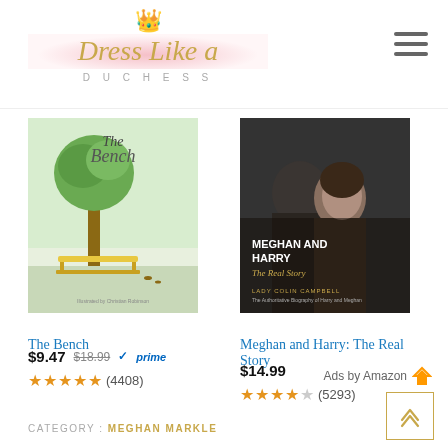[Figure (logo): Dress Like a Duchess logo with crown, script text and 'DUCHESS' subtitle]
[Figure (photo): Book cover: The Bench - illustrated children's book with tree and yellow bench]
The Bench
$9.47  $18.99  ✓prime  ★★★★★ (4408)
[Figure (photo): Book cover: Meghan and Harry: The Real Story - dark photo cover with couple, by Lady Colin Campbell]
Meghan and Harry: The Real Story
$14.99  ★★★★☆ (5293)
Ads by Amazon
CATEGORY : MEGHAN MARKLE